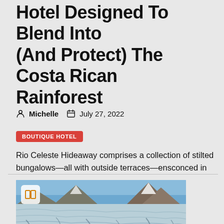Hotel Designed To Blend Into (And Protect) The Costa Rican Rainforest
Michelle   July 27, 2022
BOUTIQUE HOTEL
Rio Celeste Hideaway comprises a collection of stilted bungalows—all with outside terraces—ensconced in ... [+] the lush tropical greenery of Costa Rica's Guanacaste location. Rio...
[Figure (photo): Glacier landscape with blue ice formations and rocky mountains under a blue sky]